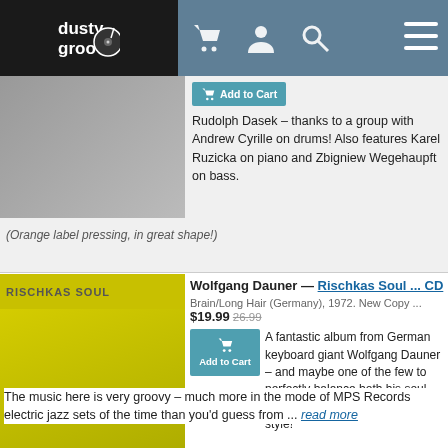dusty groove [website header with cart, profile, search, and menu icons]
Rudolph Dasek – thanks to a group with Andrew Cyrille on drums! Also features Karel Ruzicka on piano and Zbigniew Wegehaupft on bass.
(Orange label pressing, in great shape!)
Wolfgang Dauner — Rischkas Soul ... CD
Brain/Long Hair (Germany), 1972. New Copy ... $19.99 26.99
A fantastic album from German keyboard giant Wolfgang Dauner – and maybe one of the few to perfectly balance both his soul jazz roots and his later trippier style! The music here is very groovy – much more in the mode of MPS Records electric jazz sets of the time than you'd guess from ... read more
Wolfgang Dauner & Et Cetera — Knirsch ... CD
MPS/Promising (Germany), 1972. New Copy ... $19.99 24.99
Mad MPS material from Wolfgang Dauner – right up there with some of the wildest records on the label during the 70s! The album's easily one of Dauner's most striking sessions – a set that has him handling a whole host of electric keyboards, and working with a group that also includes ... read more